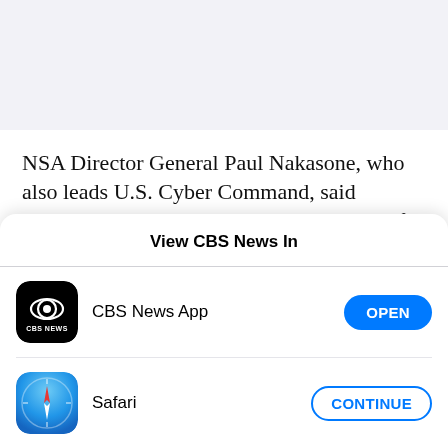NSA Director General Paul Nakasone, who also leads U.S. Cyber Command, said agencies' visibility into the cybersecurity of domestic entities was limited because adversaries had "structured their activities" to exploit U.S. legal and policy boundaries. He also
View CBS News In
[Figure (logo): CBS News App icon — black rounded square with CBS eye logo and text CBS NEWS below]
CBS News App
OPEN
[Figure (logo): Safari browser icon — blue gradient compass circle with red and white compass needle]
Safari
CONTINUE